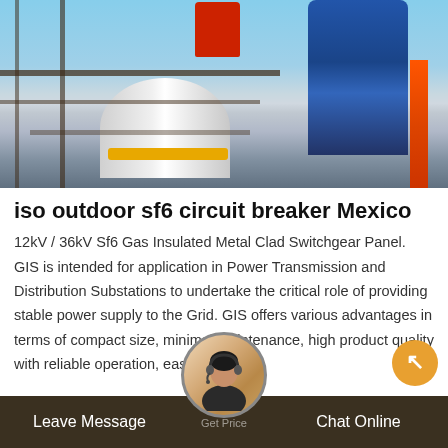[Figure (photo): Industrial workers on scaffolding near high-voltage electrical switchgear equipment, with white cylindrical structure, red bucket, and orange safety elements visible]
iso outdoor sf6 circuit breaker Mexico
12kV / 36kV Sf6 Gas Insulated Metal Clad Switchgear Panel. GIS is intended for application in Power Transmission and Distribution Substations to undertake the critical role of providing stable power supply to the Grid. GIS offers various advantages in terms of compact size, minimal maintenance, high product quality with reliable operation, ease
Leave Message   Get Price   Chat Online